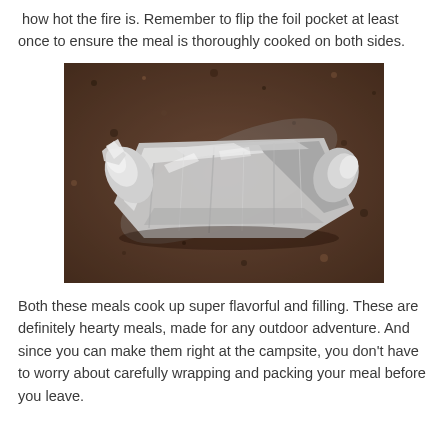how hot the fire is. Remember to flip the foil pocket at least once to ensure the meal is thoroughly cooked on both sides.
[Figure (photo): A foil packet wrapped tightly in aluminum foil, resting on a dark granite countertop surface.]
Both these meals cook up super flavorful and filling. These are definitely hearty meals, made for any outdoor adventure. And since you can make them right at the campsite, you don't have to worry about carefully wrapping and packing your meal before you leave.